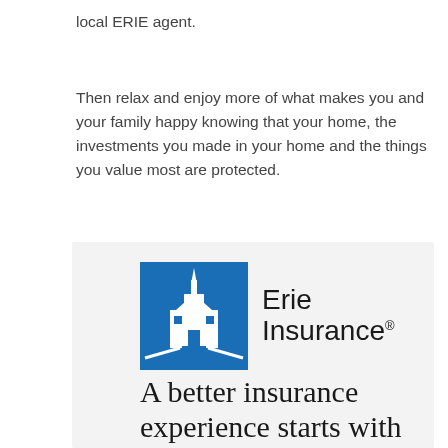local ERIE agent.
Then relax and enjoy more of what makes you and your family happy knowing that your home, the investments you made in your home and the things you value most are protected.
[Figure (logo): Erie Insurance logo — blue square icon with stylized building/church steeple and 'Erie Insurance' text in black]
A better insurance experience starts with ERIE